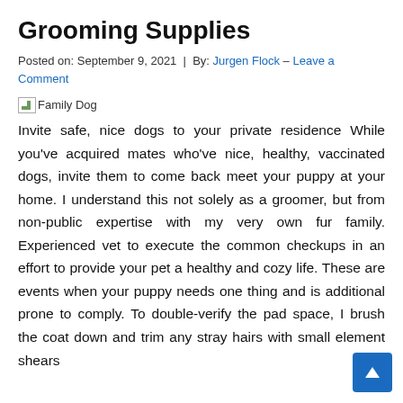Grooming Supplies
Posted on: September 9, 2021  |  By: Jurgen Flock – Leave a Comment
[Figure (illustration): Broken image placeholder labeled 'Family Dog']
Invite safe, nice dogs to your private residence While you've acquired mates who've nice, healthy, vaccinated dogs, invite them to come back meet your puppy at your home. I understand this not solely as a groomer, but from non-public expertise with my very own fur family. Experienced vet to execute the common checkups in an effort to provide your pet a healthy and cozy life. These are events when your puppy needs one thing and is additional prone to comply. To double-verify the pad space, I brush the coat down and trim any stray hairs with small element shears, all the way all through and then turning the paw of the